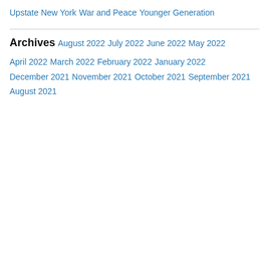Upstate New York
War and Peace
Younger Generation
Archives
August 2022
July 2022
June 2022
May 2022
April 2022
March 2022
February 2022
January 2022
December 2021
November 2021
October 2021
September 2021
August 2021